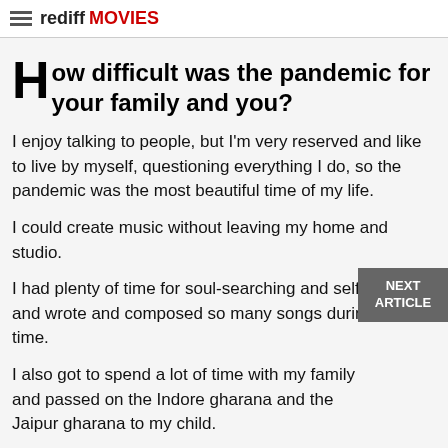rediff MOVIES
How difficult was the pandemic for your family and you?
I enjoy talking to people, but I'm very reserved and like to live by myself, questioning everything I do, so the pandemic was the most beautiful time of my life.
I could create music without leaving my home and studio.
I had plenty of time for soul-searching and self-analysis and wrote and composed so many songs during this time.
I also got to spend a lot of time with my family and passed on the Indore gharana and the Jaipur gharana to my child.
Nishaad is learning classical music, we have been doing the chilla together, 40 days of singing one-stop, non-stop.
I practised for 16 hours a day, he did four because he's still only a child.